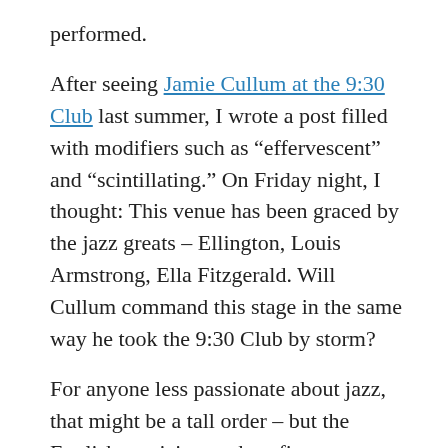performed.
After seeing Jamie Cullum at the 9:30 Club last summer, I wrote a post filled with modifiers such as “effervescent” and “scintillating.” On Friday night, I thought: This venue has been graced by the jazz greats – Ellington, Louis Armstrong, Ella Fitzgerald. Will Cullum command this stage in the same way he took the 9:30 Club by storm?
For anyone less passionate about jazz, that might be a tall order – but the English musician packs a fierce one-two punch of verve and versatility. He’s introduced listeners to jazz not only through his electrifying performances but also through his weekly BBC Radio 2 show, featuring interviews with and live performances